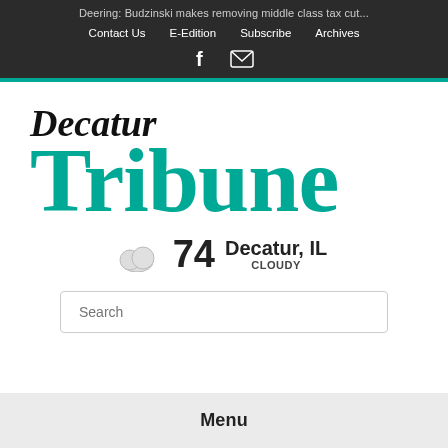Deering: Budzinski makes removing middle class tax cut...
Contact Us   E-Edition   Subscribe   Archives
[Figure (logo): Facebook and email social icons]
Decatur Tribune
74  Decatur, IL  CLOUDY
Search
Menu